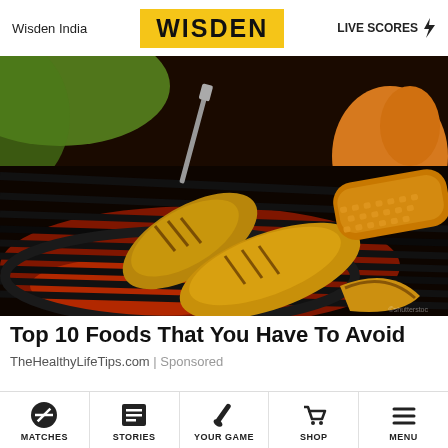Wisden India | WISDEN | LIVE SCORES ⚡
[Figure (photo): Grilled chicken pieces and corn on the cob on a barbecue grill, close-up shot with warm orange-red glow]
Top 10 Foods That You Have To Avoid
TheHealthyLifeTips.com | Sponsored
[Figure (photo): Thumbnail strip of small images]
MATCHES | STORIES | YOUR GAME | SHOP | MENU